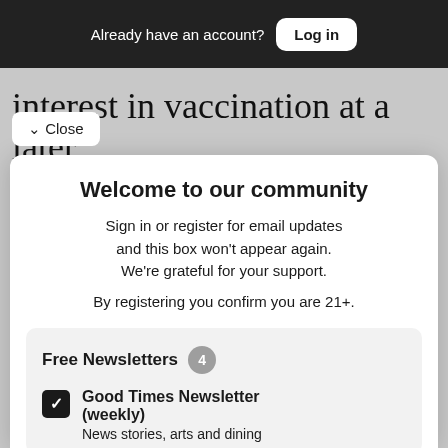Already have an account? Log in
interest in vaccination at a later
and only 2.1% of employees
Welcome to our community
Sign in or register for email updates and this box won't appear again. We're grateful for your support.
By registering you confirm you are 21+.
Free Newsletters 4
Good Times Newsletter (weekly)
News stories, arts and dining